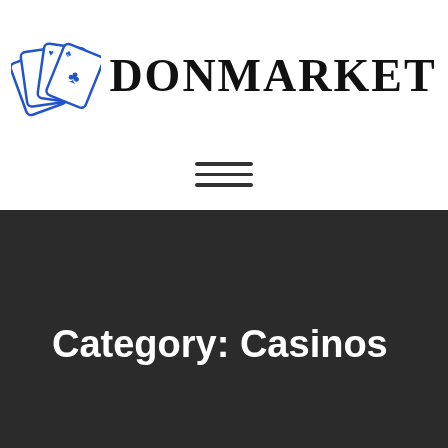[Figure (logo): DONMARKET logo with playing cards icon (blue outline cards with heart and club symbols) to the left of the bold black text 'DONMARKET']
[Figure (other): Hamburger menu icon — three horizontal dark lines]
Category: Casinos